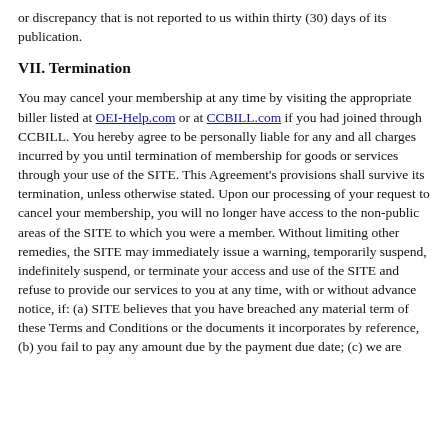or discrepancy that is not reported to us within thirty (30) days of its publication.
VII. Termination
You may cancel your membership at any time by visiting the appropriate biller listed at OEI-Help.com or at CCBILL.com if you had joined through CCBILL. You hereby agree to be personally liable for any and all charges incurred by you until termination of membership for goods or services through your use of the SITE. This Agreement's provisions shall survive its termination, unless otherwise stated. Upon our processing of your request to cancel your membership, you will no longer have access to the non-public areas of the SITE to which you were a member. Without limiting other remedies, the SITE may immediately issue a warning, temporarily suspend, indefinitely suspend, or terminate your access and use of the SITE and refuse to provide our services to you at any time, with or without advance notice, if: (a) SITE believes that you have breached any material term of these Terms and Conditions or the documents it incorporates by reference, (b) you fail to pay any amount due by the payment due date; (c) we are